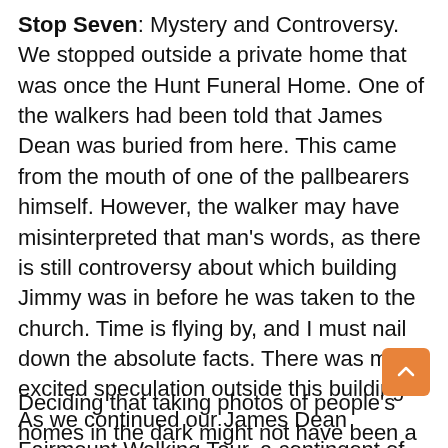Stop Seven: Mystery and Controversy. We stopped outside a private home that was once the Hunt Funeral Home. One of the walkers had been told that James Dean was buried from here. This came from the mouth of one of the pallbearers himself. However, the walker may have misinterpreted that man's words, as there is still controversy about which building Jimmy was in before he was taken to the church. Time is flying by, and I must nail down the absolute facts. There was much excited speculation outside this building. As we continued our James Dean Fairmount Walking Tour, a contingent of the local gendarmes in a black and white rolled along beside us.
Deciding that taking photos of people's homes in the dark might not have been a great idea,